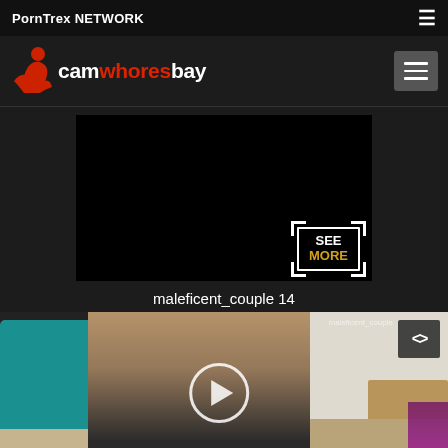PornTrex NETWORK
[Figure (logo): camwhoresbay logo with female silhouette in red]
[Figure (screenshot): Black video preview box with SEE MORE overlay and corner bracket decoration]
maleficent_couple 14
[Figure (screenshot): Live cam thumbnail showing a woman with dark hair in a room with teal chair, with play button overlay and code button in top right corner, watermark text maleficent_couple]